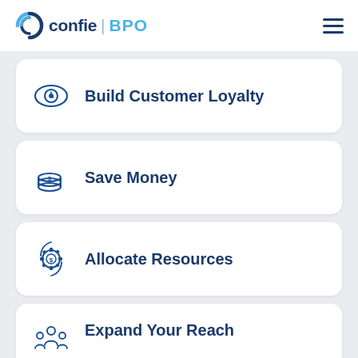[Figure (logo): Confie BPO logo with swirl icon]
Build Customer Loyalty
Save Money
Allocate Resources
Expand Your Reach